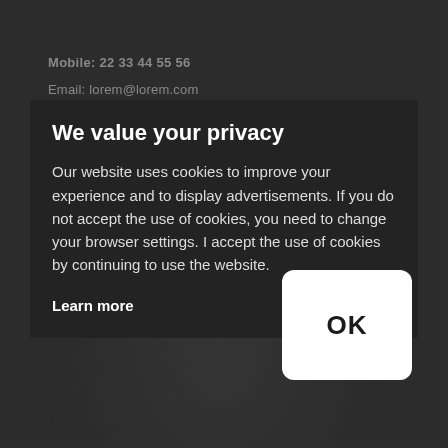[Figure (screenshot): Dark background webpage with a blurred silhouette person photo behind a cookie consent overlay dialog]
Mobile: 22 33 44 55 56
Email: lorem@lorem.com
We value your privacy
Our website uses cookies to improve your experience and to display advertisements. If you do not accept the use of cookies, you need to change your browser settings. I accept the use of cookies by continuing to use the website.
Learn more
OK